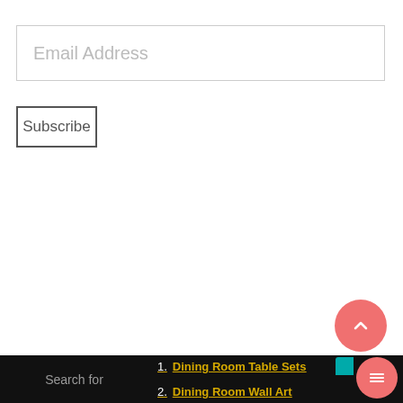Email Address
Subscribe
Search for
1. Dining Room Table Sets
2. Dining Room Wall Art